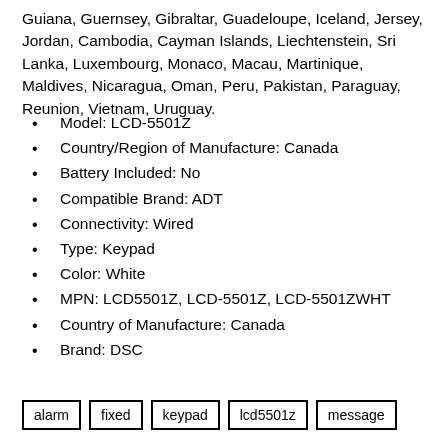Guiana, Guernsey, Gibraltar, Guadeloupe, Iceland, Jersey, Jordan, Cambodia, Cayman Islands, Liechtenstein, Sri Lanka, Luxembourg, Monaco, Macau, Martinique, Maldives, Nicaragua, Oman, Peru, Pakistan, Paraguay, Reunion, Vietnam, Uruguay.
Model: LCD-5501Z
Country/Region of Manufacture: Canada
Battery Included: No
Compatible Brand: ADT
Connectivity: Wired
Type: Keypad
Color: White
MPN: LCD5501Z, LCD-5501Z, LCD-5501ZWHT
Country of Manufacture: Canada
Brand: DSC
Details on eBay
alarm   fixed   keypad   lcd5501z   message